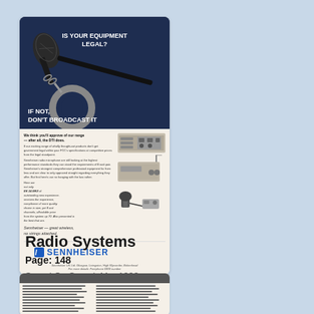[Figure (photo): Advertisement for Sennheiser radio systems. Top half: dark blue background with microphone, handcuffs, text 'IS YOUR EQUIPMENT LEGAL?' and 'IF NOT, DON'T BROADCAST IT'. Bottom half: product details, images of radio equipment, Sennheiser logo, tagline 'great wireless, no strings attached'.]
Radio Systems
Page: 148
Sound On Sound, Mar 1992
[Figure (photo): Partial view of a second document page with text columns and a grey header bar, content not fully legible.]